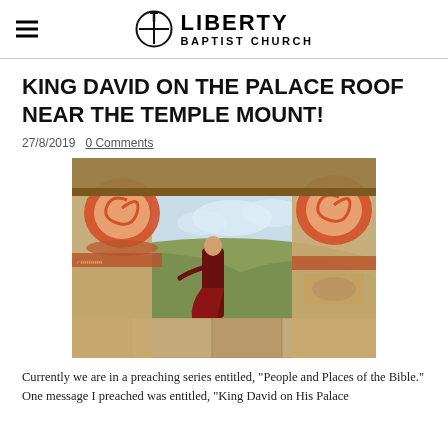LIBERTY BAPTIST CHURCH
KING DAVID ON THE PALACE ROOF NEAR THE TEMPLE MOUNT!
27/8/2019  0 Comments
[Figure (photo): Painting of King David on a palace rooftop with decorative columns with red spiral capitals, looking out over a hillside landscape.]
Currently we are in a preaching series entitled, "People and Places of the Bible." One message I preached was entitled, "King David on His Palace